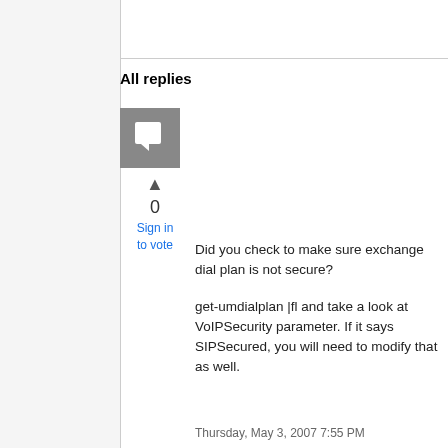All replies
[Figure (illustration): Grey square avatar icon with a speech bubble symbol inside]
0
Sign in to vote
Did you check to make sure exchange dial plan is not secure?

get-umdialplan |fl and take a look at VoIPSecurity parameter. If it says SIPSecured, you will need to modify that as well.
Thursday, May 3, 2007 7:55 PM